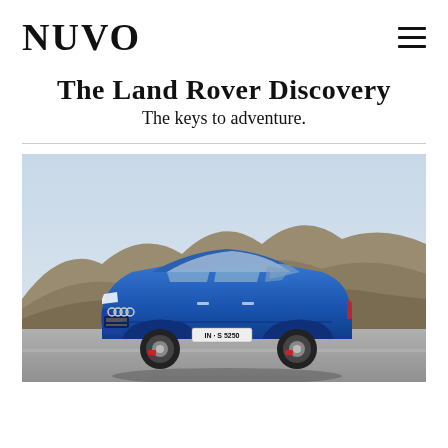NUVO
The Land Rover Discovery
The keys to adventure.
[Figure (photo): A blue Audi S5 Sportback (license plate IN-S 5250) photographed on a road with arid hills/mountains in the background under a pale sky.]